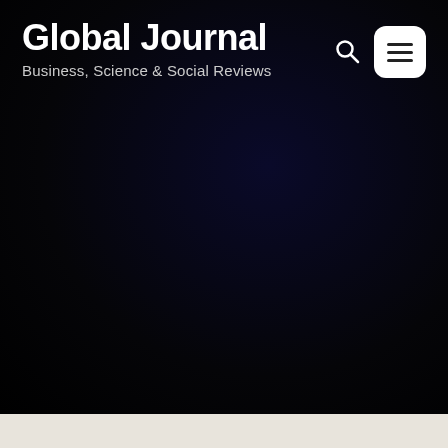Global Journal
Business, Science & Social Reviews
[Figure (screenshot): Navigation bar with search icon and hamburger menu button on dark background]